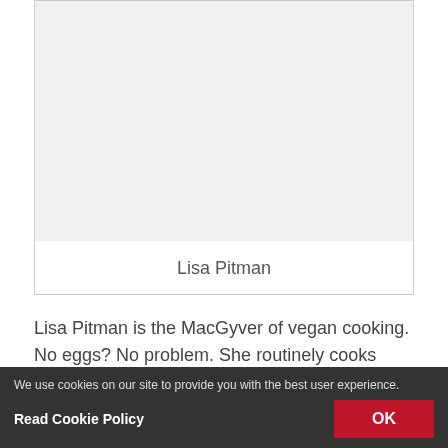[Figure (photo): Author photo placeholder card showing name 'Lisa Pitman' below an empty/light gray image area]
Lisa Pitman is the MacGyver of vegan cooking. No eggs? No problem. She routinely cooks without eggs using a variety of plant-based substitutes. When she became a vegan at the age of six, she was probably too young to
We use cookies on our site to provide you with the best user experience.
Read Cookie Policy
OK